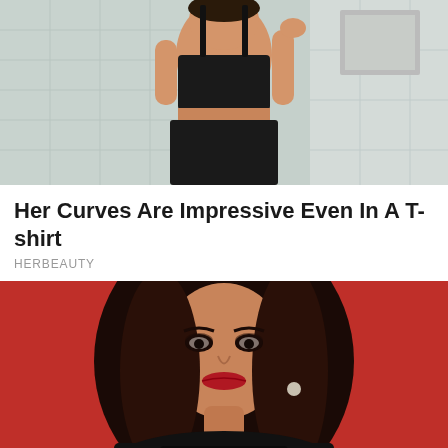[Figure (photo): Woman in black crop top and skirt posing against a tiled wall background]
Her Curves Are Impressive Even In A T-shirt
HERBEAUTY
[Figure (photo): Woman with long dark curly hair and red lipstick posing against a red background, wearing a dark lace top]
The 10 Most Irresistible Asian Actresses